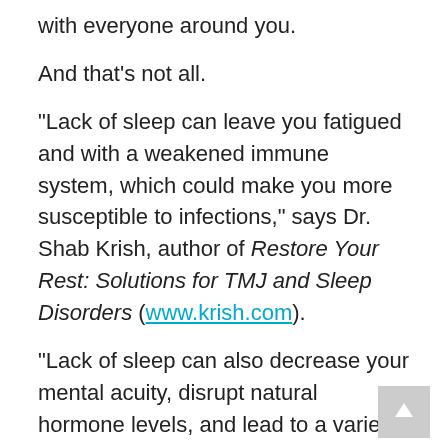with everyone around you.
And that’s not all.
“Lack of sleep can leave you fatigued and with a weakened immune system, which could make you more susceptible to infections,” says Dr. Shab Krish, author of Restore Your Rest: Solutions for TMJ and Sleep Disorders (www.krish.com).
“Lack of sleep can also decrease your mental acuity, disrupt natural hormone levels, and lead to a variety of other significant health problems.”
Krish, who is also director of TMJ & Sleep Therapy Centre of North Texas, offers a few suggestions for those who find themselves still grumpy and exhausted when morning arrives: